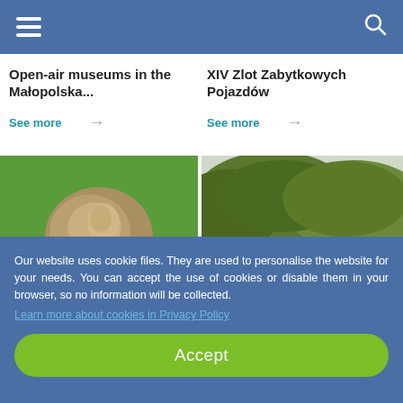Navigation menu and search
Open-air museums in the Małopolska...
See more →
XIV Zlot Zabytkowych Pojazdów
See more →
[Figure (photo): A stone sculpture or artifact on green grass]
[Figure (photo): A river landscape with autumn forest hillside]
Our website uses cookie files. They are used to personalise the website for your needs. You can accept the use of cookies or disable them in your browser, so no information will be collected. Learn more about cookies in Privacy Policy
Accept